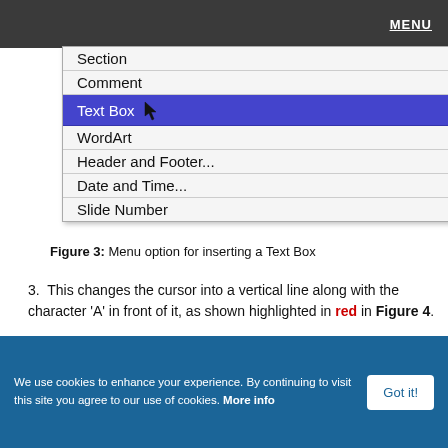MENU
[Figure (screenshot): Dropdown menu showing items: Section, Comment, Text Box (highlighted in blue), WordArt, Header and Footer..., Date and Time..., Slide Number]
Figure 3: Menu option for inserting a Text Box
3. This changes the cursor into a vertical line along with the character 'A' in front of it, as shown highlighted in red in Figure 4.
[Figure (screenshot): Partial screenshot showing a red bar/cursor indicator]
We use cookies to enhance your experience. By continuing to visit this site you agree to our use of cookies. More info